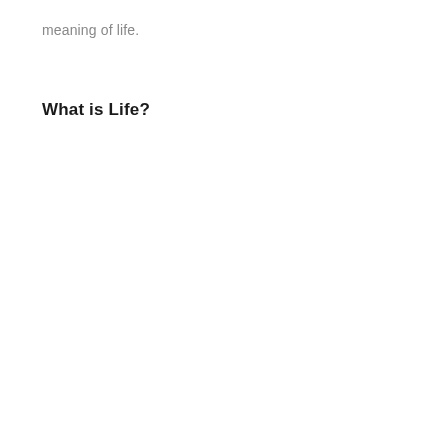meaning of life.
What is Life?